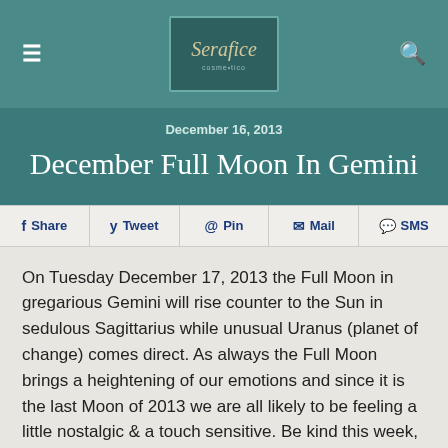Serafice
December 16, 2013
December Full Moon In Gemini
Share  Tweet  Pin  Mail  SMS
On Tuesday December 17, 2013 the Full Moon in gregarious Gemini will rise counter to the Sun in sedulous Sagittarius while unusual Uranus (planet of change) comes direct. As always the Full Moon brings a heightening of our emotions and since it is the last Moon of 2013 we are all likely to be feeling a little nostalgic & a touch sensitive. Be kind this week, more so then usual